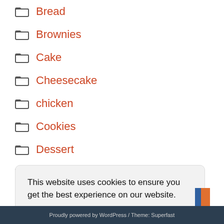Bread
Brownies
Cake
Cheesecake
chicken
Cookies
Dessert
Dinner
This website uses cookies to ensure you get the best experience on our website. Learn more
Got it!
Proudly powered by WordPress / Theme: Superfast